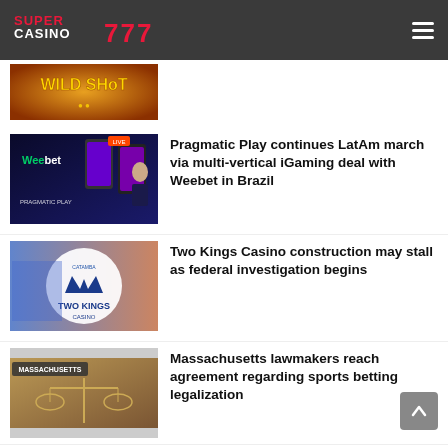SUPER CASINO 777
[Figure (screenshot): Wild Shot slot game promotional image with orange/fire background and gold text]
[Figure (screenshot): Pragmatic Play and Weebet partnership promotional image showing casino games on mobile]
Pragmatic Play continues LatAm march via multi-vertical iGaming deal with Weebet in Brazil
[Figure (screenshot): Two Kings Casino logo on blurred casino background]
Two Kings Casino construction may stall as federal investigation begins
[Figure (screenshot): Massachusetts tag with justice scales image]
Massachusetts lawmakers reach agreement regarding sports betting legalization